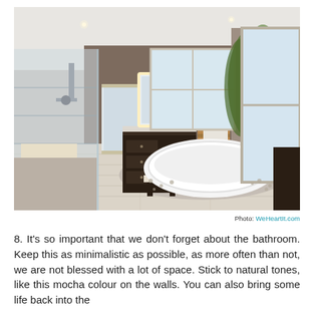[Figure (photo): A modern, minimalist bathroom with a freestanding white oval bathtub on a pebble stone area, light wood-look tile flooring, a glass-enclosed shower, dark wood vanity with illuminated mirror, a wooden ladder towel rack, tall green plant, mocha/taupe colored walls, and large windows.]
Photo: WeHeartIt.com
8. It's so important that we don't forget about the bathroom. Keep this as minimalistic as possible, as more often than not, we are not blessed with a lot of space. Stick to natural tones, like this mocha colour on the walls. You can also bring some life back into the